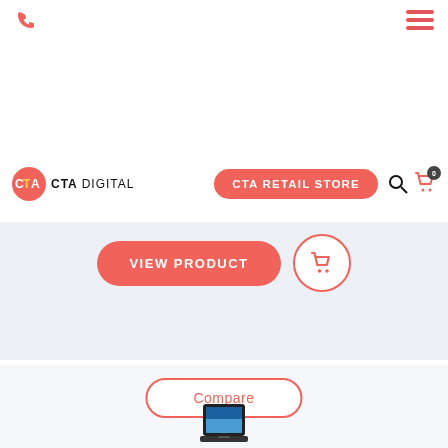[Figure (screenshot): Phone icon in red/coral color at top left of page]
[Figure (logo): CTA Digital logo with red circle containing CTA text and yellow stripe, followed by CTA DIGITAL text]
CTA RETAIL STORE
[Figure (screenshot): Search icon (magnifying glass) and shopping cart icon with badge showing 0]
VIEW PRODUCT
[Figure (screenshot): Shopping cart icon in a circle outline]
Compare
[Figure (screenshot): Partial product thumbnail image of a tablet/iPad device at bottom of page]